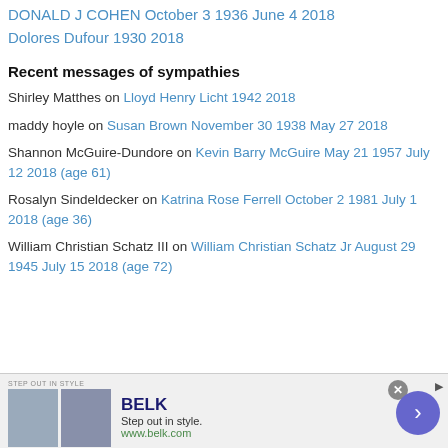DONALD J COHEN October 3 1936 June 4 2018
Dolores Dufour 1930 2018
Recent messages of sympathies
Shirley Matthes on Lloyd Henry Licht 1942 2018
maddy hoyle on Susan Brown November 30 1938 May 27 2018
Shannon McGuire-Dundore on Kevin Barry McGuire May 21 1957 July 12 2018 (age 61)
Rosalyn Sindeldecker on Katrina Rose Ferrell October 2 1981 July 1 2018 (age 36)
William Christian Schatz III on William Christian Schatz Jr August 29 1945 July 15 2018 (age 72)
[Figure (other): Advertisement banner for BELK - Step out in style. www.belk.com with product images and navigation arrow.]